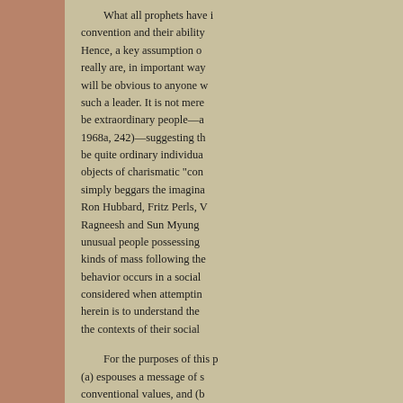What all prophets have in common is their defiance of convention and their ability to attract a mass following. Hence, a key assumption of this book is that prophets really are, in important ways, different from what they will be obvious to anyone who has ever encountered such a leader. It is not merely that such leaders tend to be extraordinary people—although many are (Weber, 1968a, 242)—suggesting that charismatic leaders can be quite ordinary individuals who somehow become objects of charismatic "con... simply beggars the imagina... Ron Hubbard, Fritz Perls, ... Ragneesh and Sun Myung ... unusual people possessing ... kinds of mass following the... behavior occurs in a social ... considered when attempting... herein is to understand the ... the contexts of their social ...
For the purposes of this ... (a) espouses a message of s... conventional values, and (b... look to him for guidance in... such figures as Madame B...